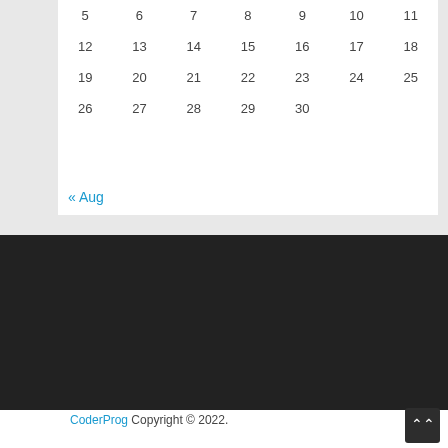| 5 | 6 | 7 | 8 | 9 | 10 | 11 |
| 12 | 13 | 14 | 15 | 16 | 17 | 18 |
| 19 | 20 | 21 | 22 | 23 | 24 | 25 |
| 26 | 27 | 28 | 29 | 30 |  |  |
« Aug
Contact   DMCA   Privacy Policy
CoderProg Copyright © 2022.